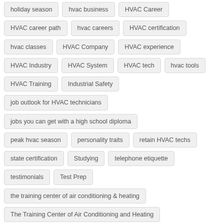holiday season
hvac business
HVAC Career
HVAC career path
hvac careers
HVAC certification
hvac classes
HVAC Company
HVAC experience
HVAC Industry
HVAC System
HVAC tech
hvac tools
HVAC Training
Industrial Safety
job outlook for HVAC technicians
jobs you can get with a high school diploma
peak hvac season
personality traits
retain HVAC techs
state certification
Studying
telephone etiquette
testimonials
Test Prep
the training center of air conditioning & heating
The Training Center of Air Conditioning and Heating